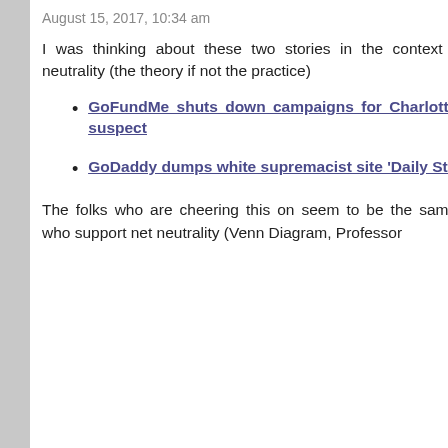August 15, 2017, 10:34 am
I was thinking about these two stories in the context of net neutrality (the theory if not the practice)
GoFundMe shuts down campaigns for Charlottesville suspect
GoDaddy dumps white supremacist site 'Daily Stormer'
The folks who are cheering this on seem to be the same folks who support net neutrality (Venn Diagram, Professor